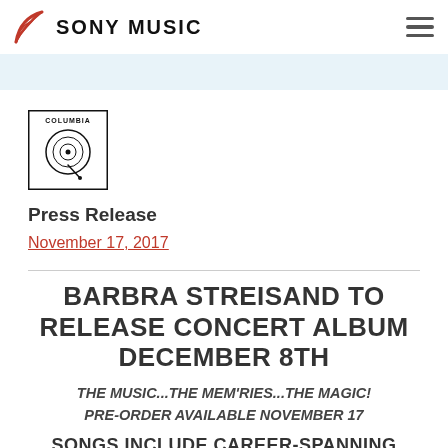SONY MUSIC
[Figure (logo): Columbia Records logo — circular eye/record graphic with COLUMBIA text above]
Press Release
November 17, 2017
BARBRA STREISAND TO RELEASE CONCERT ALBUM DECEMBER 8TH
THE MUSIC...THE MEM'RIES...THE MAGIC!
PRE-ORDER AVAILABLE NOVEMBER 17
SONGS INCLUDE CAREER-SPANNING HITS FROM